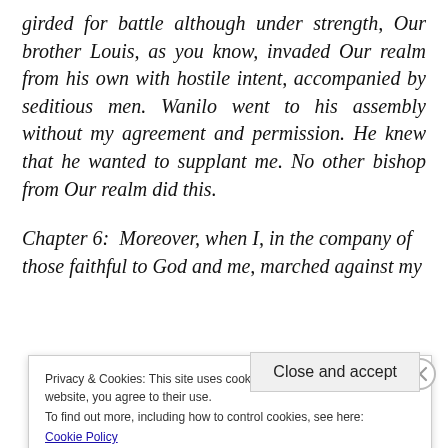girded for battle although under strength, Our brother Louis, as you know, invaded Our realm from his own with hostile intent, accompanied by seditious men. Wanilo went to his assembly without my agreement and permission. He knew that he wanted to supplant me. No other bishop from Our realm did this.
Chapter 6: Moreover, when I, in the company of those faithful to God and me, marched against my
Privacy & Cookies: This site uses cookies. By continuing to use this website, you agree to their use. To find out more, including how to control cookies, see here: Cookie Policy